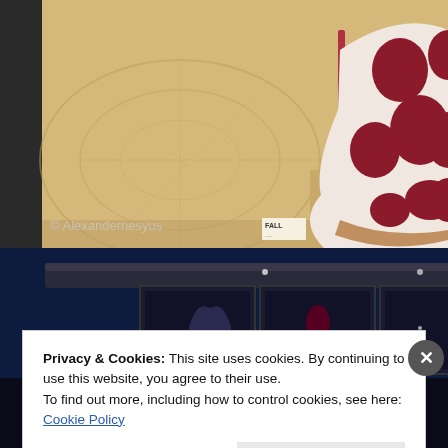[Figure (photo): Close-up photo of a white high-heel stiletto shoe with large red/burgundy polka dots, resting on a wooden surface with a patterned rug visible. Watermark text '© Alexandernesyus' overlaid in lower left. Label tag partially visible reading 'FALL...']
[Figure (photo): Dark interior photo showing framed artworks or screens on a dark wall, with dim lighting. Partially obscured by the cookie consent overlay.]
Privacy & Cookies: This site uses cookies. By continuing to use this website, you agree to their use.
To find out more, including how to control cookies, see here: Cookie Policy
Close and accept